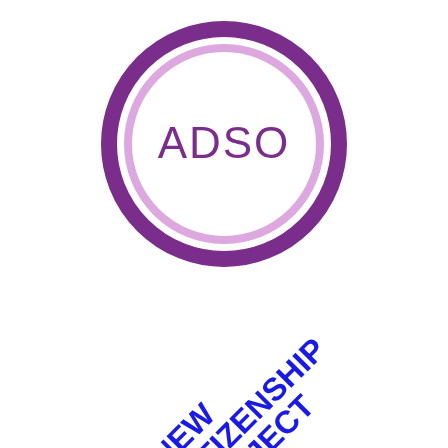[Figure (logo): ADSO logo: a circle with a thick purple/violet outer ring and a soft pink inner ring, containing the text 'ADSO' in purple]
[Figure (logo): New Citizenship Project logo: bold blue text 'NEW CITIZENSHIP PROJECT' arranged diagonally at approximately 45 degrees, with a solid blue triangular arrow/chevron shape pointing down-left]